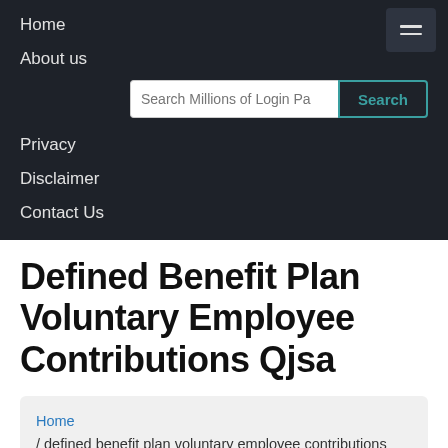Home
About us
Privacy
Disclaimer
Contact Us
Defined Benefit Plan Voluntary Employee Contributions Qjsa
Home / defined benefit plan voluntary employee contributions qjsa
If you want to login to defined benefit plan